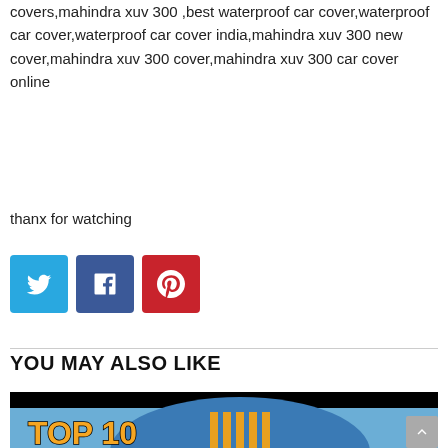covers,mahindra xuv 300 ,best waterproof car cover,waterproof car cover,waterproof car cover india,mahindra xuv 300 new cover,mahindra xuv 300 cover,mahindra xuv 300 car cover online
thanx for watching
[Figure (infographic): Three social media share buttons: Twitter (cyan/blue), Facebook (dark blue), Pinterest (red) each showing respective icons]
YOU MAY ALSO LIKE
[Figure (screenshot): Thumbnail image with black bar at top and a TOP 10 text overlay with a building/dome image in the background]